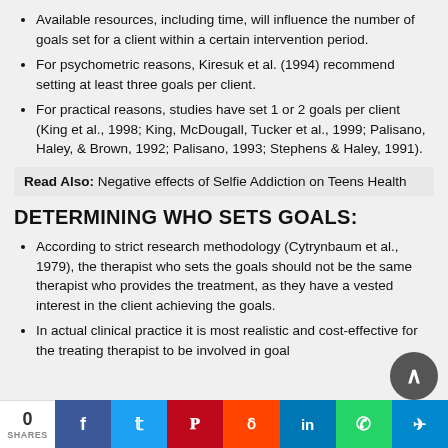Available resources, including time, will influence the number of goals set for a client within a certain intervention period.
For psychometric reasons, Kiresuk et al. (1994) recommend setting at least three goals per client.
For practical reasons, studies have set 1 or 2 goals per client (King et al., 1998; King, McDougall, Tucker et al., 1999; Palisano, Haley, & Brown, 1992; Palisano, 1993; Stephens & Haley, 1991).
Read Also: Negative effects of Selfie Addiction on Teens Health
DETERMINING WHO SETS GOALS:
According to strict research methodology (Cytrynbaum et al., 1979), the therapist who sets the goals should not be the same therapist who provides the treatment, as they have a vested interest in the client achieving the goals.
In actual clinical practice it is most realistic and cost-effective for the treating therapist to be involved in goa…